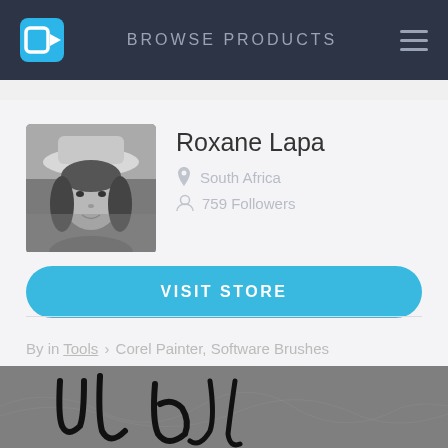BROWSE PRODUCTS
[Figure (photo): Black and white profile photo of Roxane Lapa wearing a hat, outdoors]
Roxane Lapa
South Africa
759 Followers
VISIT STORE
By in Tools › Corel Painter, Software Brushes
[Figure (photo): Black and white artistic handwriting/calligraphy image, partially visible at the bottom of the page]